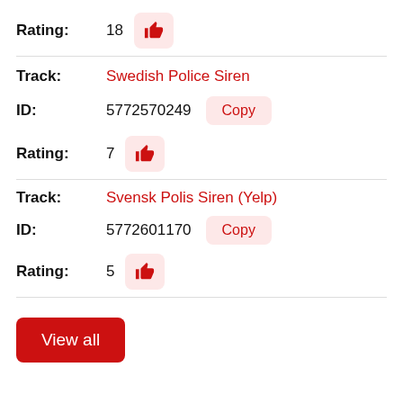Rating: 18
Track: Swedish Police Siren
ID: 5772570249
Rating: 7
Track: Svensk Polis Siren (Yelp)
ID: 5772601170
Rating: 5
View all